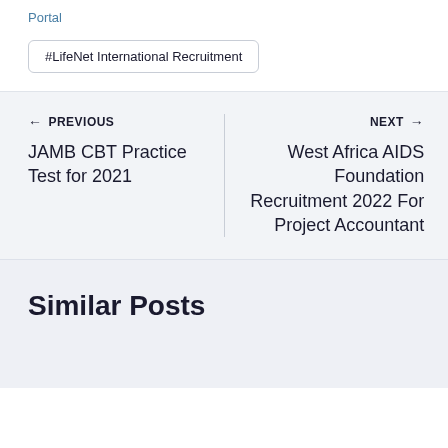Portal
#LifeNet International Recruitment
← PREVIOUS
JAMB CBT Practice Test for 2021
NEXT →
West Africa AIDS Foundation Recruitment 2022 For Project Accountant
Similar Posts